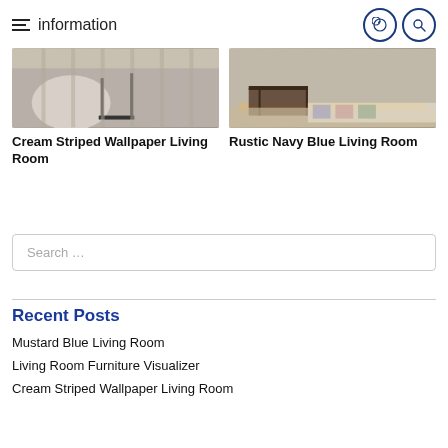information
[Figure (photo): Cream striped wallpaper living room interior with white chair]
Cream Striped Wallpaper Living Room
[Figure (photo): Rustic navy blue living room with wooden coffee table and patterned rug]
Rustic Navy Blue Living Room
Search ...
Recent Posts
Mustard Blue Living Room
Living Room Furniture Visualizer
Cream Striped Wallpaper Living Room